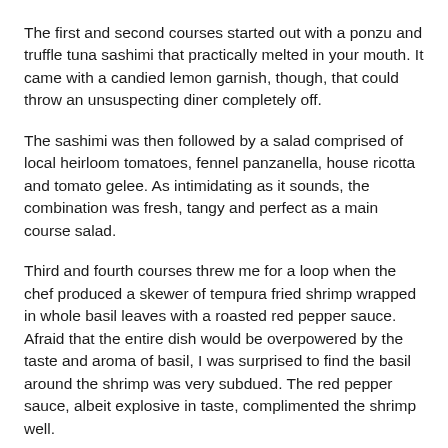The first and second courses started out with a ponzu and truffle tuna sashimi that practically melted in your mouth. It came with a candied lemon garnish, though, that could throw an unsuspecting diner completely off.
The sashimi was then followed by a salad comprised of local heirloom tomatoes, fennel panzanella, house ricotta and tomato gelee. As intimidating as it sounds, the combination was fresh, tangy and perfect as a main course salad.
Third and fourth courses threw me for a loop when the chef produced a skewer of tempura fried shrimp wrapped in whole basil leaves with a roasted red pepper sauce. Afraid that the entire dish would be overpowered by the taste and aroma of basil, I was surprised to find the basil around the shrimp was very subdued. The red pepper sauce, albeit explosive in taste, complimented the shrimp well.
Next came my favorite dish of the night: a pan seared duo of sea scallops with roasted oyster mushrooms, rah tham and an amazing leek wonton that blew my mind. The entire dish gave off